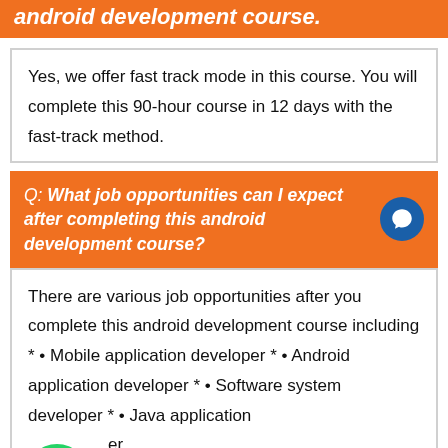android development course.
Yes, we offer fast track mode in this course. You will complete this 90-hour course in 12 days with the fast-track method.
Q: What job opportunities can I expect after completing this android development course?
There are various job opportunities after you complete this android development course including * • Mobile application developer * • Android application developer * • Software system developer * • Java application developer